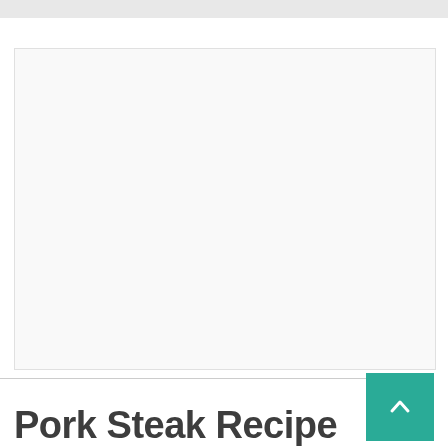[Figure (photo): Large white/blank image area representing a recipe photo for Pork Steak Recipe]
Pork Steak Recipe